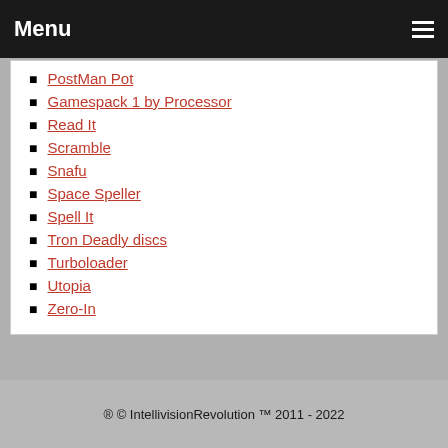Menu
PostMan Pot
Gamespack 1 by Processor
Read It
Scramble
Snafu
Space Speller
Spell It
Tron Deadly discs
Turboloader
Utopia
Zero-In
® © IntellivisionRevolution ™ 2011 - 2022